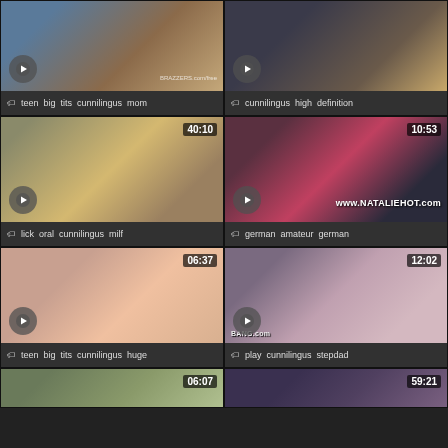[Figure (screenshot): Video thumbnail grid - adult video website thumbnails with tags]
teen  big  tits  cunnilingus  mom
cunnilingus  high  definition
lick  oral  cunnilingus  milf
german  amateur  german
teen  big  tits  cunnilingus  huge
play  cunnilingus  stepdad
06:07
59:21